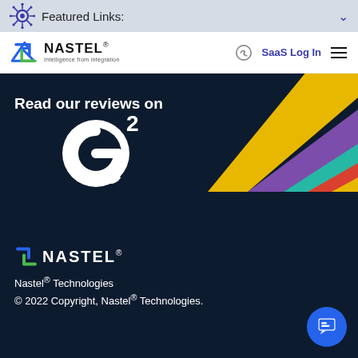Featured Links:
[Figure (logo): Nastel Technologies logo with tagline 'Intelligence from integration' and navigation bar with SaaS Log In link]
[Figure (screenshot): G2 review banner: 'Read our reviews on' with G2 logo and colorful diagonal stripes on dark blue background]
[Figure (logo): Nastel logo in white/blue on dark navy background footer]
Nastel® Technologies
© 2022 Copyright, Nastel® Technologies.